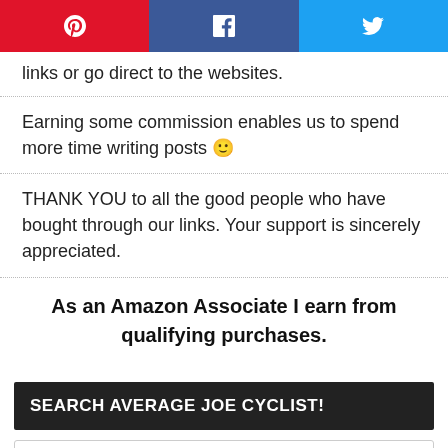[Figure (other): Social share buttons row: Pinterest (red), Facebook (dark blue), Twitter (light blue)]
links or go direct to the websites.
Earning some commission enables us to spend more time writing posts 🙂
THANK YOU to all the good people who have bought through our links. Your support is sincerely appreciated.
As an Amazon Associate I earn from qualifying purchases.
SEARCH AVERAGE JOE CYCLIST!
Search the site ...